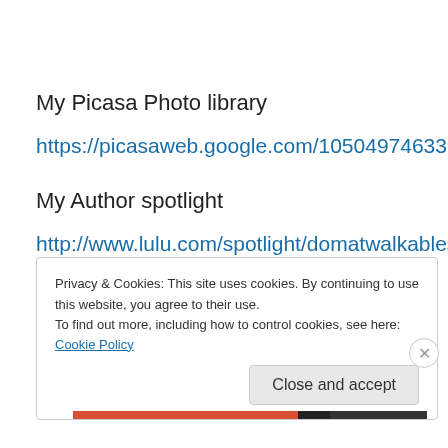My Picasa Photo library
https://picasaweb.google.com/105049746337657914534
My Author spotlight
http://www.lulu.com/spotlight/domatwalkablestreetsdotcom
Privacy & Cookies: This site uses cookies. By continuing to use this website, you agree to their use.
To find out more, including how to control cookies, see here: Cookie Policy
Close and accept